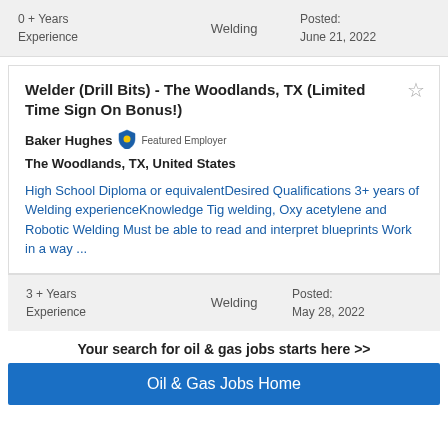0 + Years Experience   Welding   Posted: June 21, 2022
Welder (Drill Bits) - The Woodlands, TX (Limited Time Sign On Bonus!)
Baker Hughes  Featured Employer
The Woodlands, TX, United States
High School Diploma or equivalentDesired Qualifications 3+ years of Welding experienceKnowledge Tig welding, Oxy acetylene and Robotic Welding Must be able to read and interpret blueprints Work in a way ...
3 + Years Experience   Welding   Posted: May 28, 2022
Your search for oil & gas jobs starts here >>
Oil & Gas Jobs Home